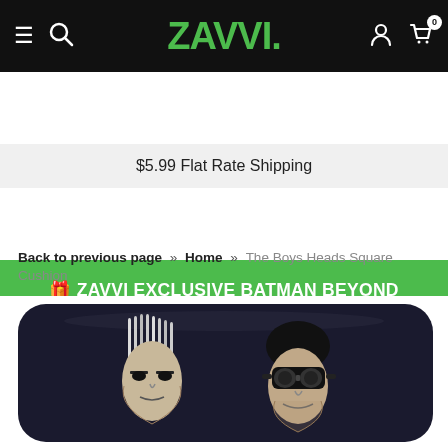ZAVVI. — navigation bar with hamburger, search, account, and cart icons
$5.99 Flat Rate Shipping
🎁 ZAVVI EXCLUSIVE BATMAN BEYOND FUNKO POP! VINYL - CLICK HERE TO FIND OUT MORE! 🎁
Back to previous page » Home » The Boys Heads Square Cushion
[Figure (photo): Dark navy/black square cushion with two illustrated character heads in black and white — one with long straight hair and one with goggles — from The Boys TV show merchandise]